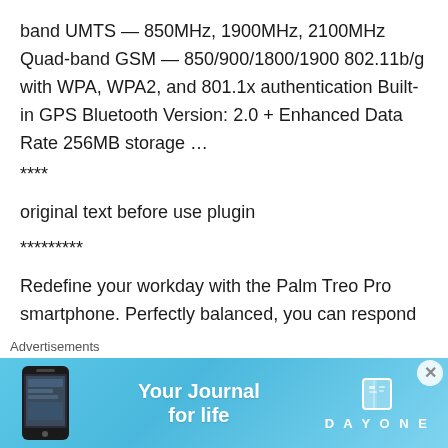band UMTS — 850MHz, 1900MHz, 2100MHz Quad-band GSM — 850/900/1800/1900 802.11b/g with WPA, WPA2, and 801.1x authentication Built-in GPS Bluetooth Version: 2.0 + Enhanced Data Rate 256MB storage …
****
original text before use plugin
*********
Redefine your workday with the Palm Treo Pro smartphone. Perfectly balanced, you can respond to business and personal email, stay on top of appointments and contacts, and use Wi-Fi
Advertisements
[Figure (infographic): Day One app advertisement banner: light blue gradient background with phone image on left, 'Your Journal for life' text in center, Day One logo and book icon on right]